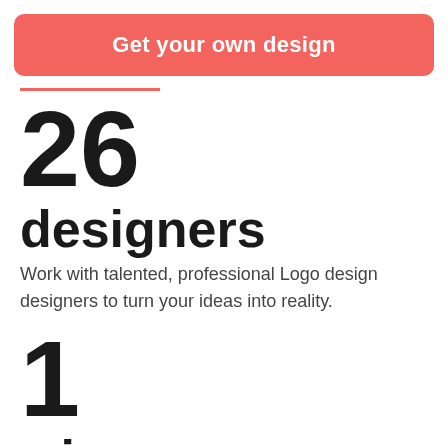Get your own design
26
designers
Work with talented, professional Logo design designers to turn your ideas into reality.
1
winner